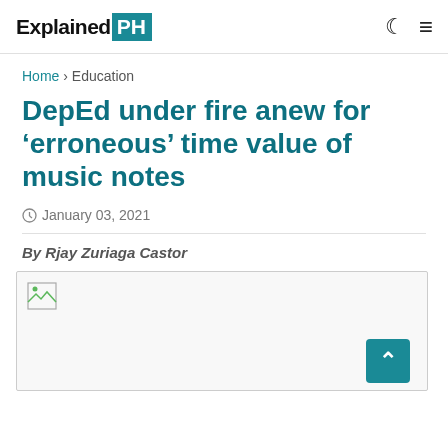ExplainedPH
Home > Education
DepEd under fire anew for 'erroneous' time value of music notes
January 03, 2021
By Rjay Zuriaga Castor
[Figure (photo): Broken/missing image placeholder inside a bordered box]